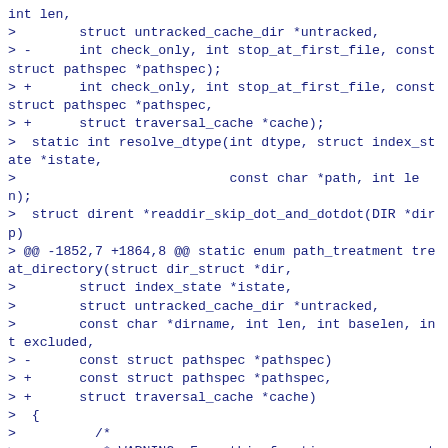int len,
>        struct untracked_cache_dir *untracked,
> -      int check_only, int stop_at_first_file, const struct pathspec *pathspec);
> +      int check_only, int stop_at_first_file, const struct pathspec *pathspec,
> +      struct traversal_cache *cache);
>  static int resolve_dtype(int dtype, struct index_state *istate,
>                           const char *path, int len);
>  struct dirent *readdir_skip_dot_and_dotdot(DIR *dirp)
> @@ -1852,7 +1864,8 @@ static enum path_treatment treat_directory(struct dir_struct *dir,
>        struct index_state *istate,
>        struct untracked_cache_dir *untracked,
>        const char *dirname, int len, int baselen, int excluded,
> -      const struct pathspec *pathspec)
> +      const struct pathspec *pathspec,
> +      struct traversal_cache *cache)
>  {
>          /*
>           * WARNING: From this function, you can return path_recurse or you
> @@ -1906,13 +1919,13 @@ static enum path_treatment treat_directory(struct dir_struct *dir,
>                  nested_repo =
> is_nonbare_repository_dir(&sb);
>